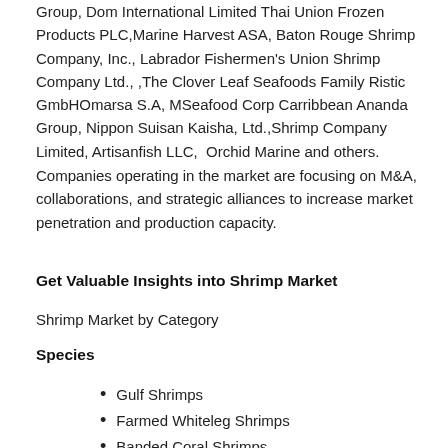Group, Dom International Limited Thai Union Frozen Products PLC,Marine Harvest ASA, Baton Rouge Shrimp Company, Inc., Labrador Fishermen's Union Shrimp Company Ltd., ,The Clover Leaf Seafoods Family Ristic GmbHOmarsa S.A, MSeafood Corp Carribbean Ananda Group, Nippon Suisan Kaisha, Ltd.,Shrimp Company Limited, Artisanfish LLC,  Orchid Marine and others.
Companies operating in the market are focusing on M&A, collaborations, and strategic alliances to increase market penetration and production capacity.
Get Valuable Insights into Shrimp Market
Shrimp Market by Category
Species
Gulf Shrimps
Farmed Whiteleg Shrimps
Banded Coral Shrimps